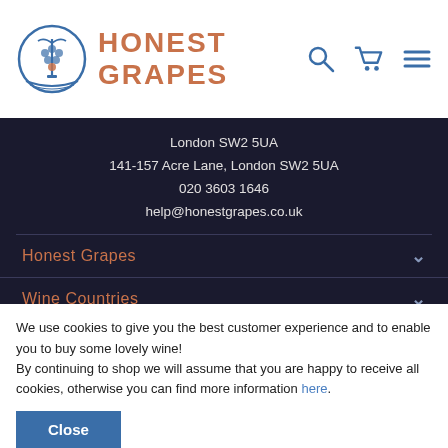[Figure (logo): Honest Grapes logo: circular emblem with grape/caduceus symbol in steel blue and orange, beside text 'HONEST GRAPES' in copper/orange]
London SW2 5UA
141-157 Acre Lane, London SW2 5UA
020 3603 1646
help@honestgrapes.co.uk
Honest Grapes
Wine Countries
Wine Regions
Occasions
Useful Info
We use cookies to give you the best customer experience and to enable you to buy some lovely wine!
By continuing to shop we will assume that you are happy to receive all cookies, otherwise you can find more information here.